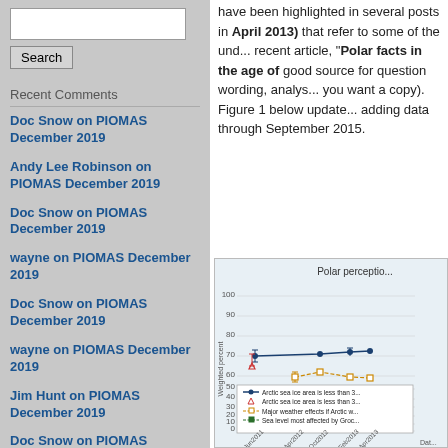Search input field
Search
Recent Comments
Doc Snow on PIOMAS December 2019
Andy Lee Robinson on PIOMAS December 2019
Doc Snow on PIOMAS December 2019
wayne on PIOMAS December 2019
Doc Snow on PIOMAS December 2019
wayne on PIOMAS December 2019
Jim Hunt on PIOMAS December 2019
Doc Snow on PIOMAS December 2019
Jim Hunt on PIOMAS December 2019
have been highlighted in several posts in April 2013) that refer to some of the und... recent article, "Polar facts in the age of good source for question wording, analys... you want a copy). Figure 1 below update... adding data through September 2015.
[Figure (line-chart): Polar perceptio...]